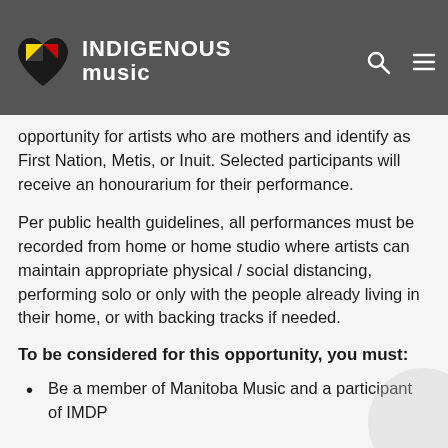INDIGENOUS music
Development Program, Manitoba Music is now [accepting submissions] for a virtual concert celebrating mothers on Mother's Day on May 10. This is an opportunity for artists who are mothers and identify as First Nation, Metis, or Inuit. Selected participants will receive an honourarium for their performance.
Per public health guidelines, all performances must be recorded from home or home studio where artists can maintain appropriate physical / social distancing, performing solo or only with the people already living in their home, or with backing tracks if needed.
To be considered for this opportunity, you must:
Be a member of Manitoba Music and a participant of IMDP